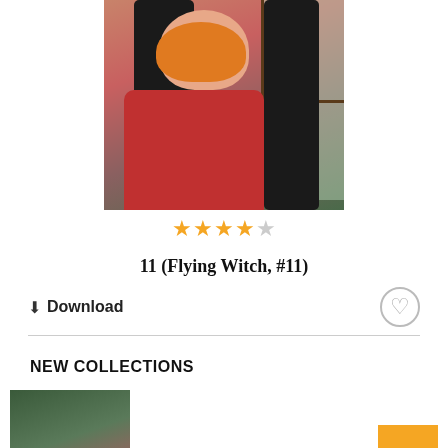[Figure (illustration): Anime illustration of a girl wearing an orange bird mask and red off-shoulder dress, looking through a window with a blue-eyed rabbit/creature visible outside]
★★★★☆
11 (Flying Witch, #11)
⬇ Download
NEW COLLECTIONS
[Figure (illustration): Small thumbnail cover of 11 (Flying Witch, #11) showing an anime girl in a red dress near a window with green outdoor scenery]
11 (Flying Witch, #11)